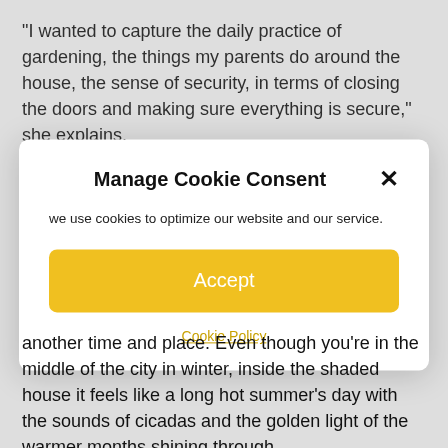“I wanted to capture the daily practice of gardening, the things my parents do around the house, the sense of security, in terms of closing the doors and making sure everything is secure,” she explains.
Manage Cookie Consent
we use cookies to optimize our website and our service.
Accept
Cookie Policy
another time and place. Even though you’re in the middle of the city in winter, inside the shaded house it feels like a long hot summer’s day with the sounds of cicadas and the golden light of the warmer months shining through.